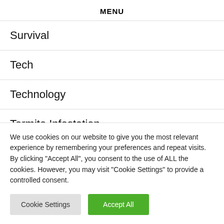MENU
Survival
Tech
Technology
Termite Infestation
The City
We use cookies on our website to give you the most relevant experience by remembering your preferences and repeat visits. By clicking "Accept All", you consent to the use of ALL the cookies. However, you may visit "Cookie Settings" to provide a controlled consent.